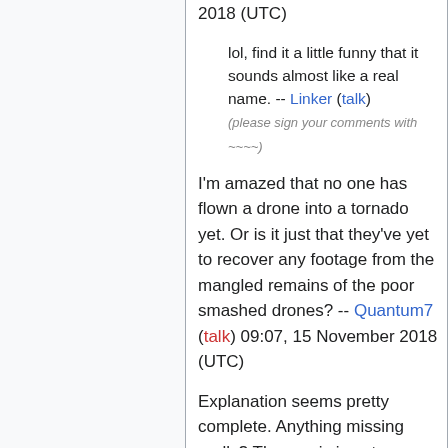2018 (UTC)
lol, find it a little funny that it sounds almost like a real name. -- Linker (talk)
(please sign your comments with ~~~~)
I'm amazed that no one has flown a drone into a tornado yet. Or is it just that they've yet to recover any footage from the mangled remains of the poor smashed drones? -- Quantum7 (talk) 09:07, 15 November 2018 (UTC)
Explanation seems pretty complete. Anything missing really? The comic is not very deep to need a longer explanation than it currently is. --172.69.134.207 11:16, 15